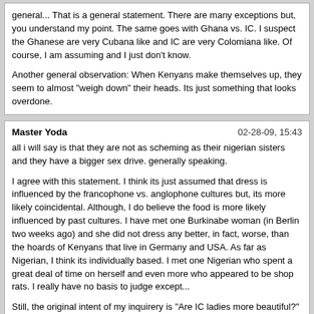general... That is a general statement. There are many exceptions but, you understand my point. The same goes with Ghana vs. IC. I suspect the Ghanese are very Cubana like and IC are very Colomiana like. Of course, I am assuming and I just don't know.

Another general observation: When Kenyans make themselves up, they seem to almost "weigh down" their heads. Its just something that looks overdone.
Master Yoda | 02-28-09, 15:43

all i will say is that they are not as scheming as their nigerian sisters and they have a bigger sex drive. generally speaking.

I agree with this statement. I think its just assumed that dress is influenced by the francophone vs. anglophone cultures but, its more likely coincidental. Although, I do believe the food is more likely influenced by past cultures. I have met one Burkinabe woman (in Berlin two weeks ago) and she did not dress any better, in fact, worse, than the hoards of Kenyans that live in Germany and USA. As far as Nigerian, I think its individually based. I met one Nigerian who spent a great deal of time on herself and even more who appeared to be shop rats. I really have no basis to judge except...

Still, the original intent of my inquirery is "Are IC ladies more beautiful?" I think dress is a factor. The only basis is from the web pics which may or may not be fake pics as well.

I'll give a comparison. Cubanas and Colombianas are latin beauties. However, due to lack of availability of clothing and not due to taste, Cubanas do not dress as well as Colombianas so, I think Colombianas are more beautiful in general... That is a general statement. There are many exceptions but, you understand my point. The same goes with Ghana vs. IC. I suspect the Ghanese are very Cubana like and IC are very Colomiana like. Of course, I am assuming and I just don't know.

Another general observation: When Kenyans make themselves up, they seem to almost "weigh down" their heads. Its just something that looks overdone.